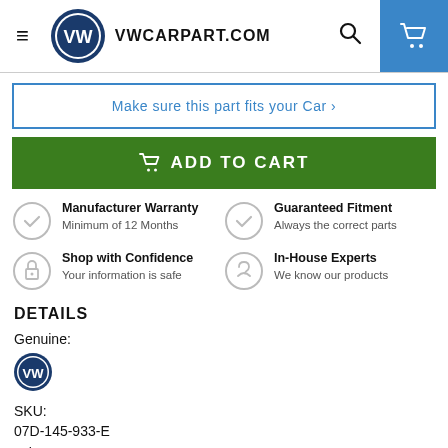VWCARPART.COM
Make sure this part fits your Car ›
ADD TO CART
Manufacturer Warranty
Minimum of 12 Months
Guaranteed Fitment
Always the correct parts
Shop with Confidence
Your information is safe
In-House Experts
We know our products
DETAILS
Genuine:
[Figure (logo): Volkswagen VW logo (small, blue circular badge)]
SKU:
07D-145-933-E
Other Names: